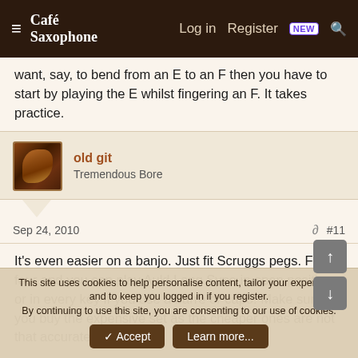Café Saxophone — Log in  Register  NEW
want, say, to bend from an E to an F then you have to start by playing the E whilst fingering an F. It takes practice.
old git
Tremendous Bore
Sep 24, 2010  #11
It's even easier on a banjo. Just fit Scruggs pegs. Fit four and you can play Auld Lang Syne in open position or in every key if you use a barre or capo. Make sure you buy the expensive set as the cheaper ones are not that accurate.
This site uses cookies to help personalise content, tailor your experience and to keep you logged in if you register.
By continuing to use this site, you are consenting to our use of cookies.
Accept  Learn more...